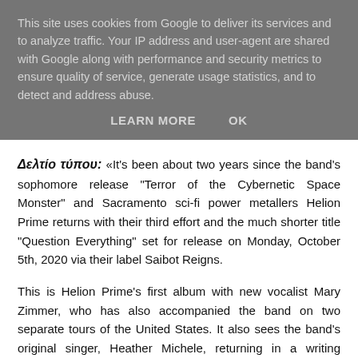This site uses cookies from Google to deliver its services and to analyze traffic. Your IP address and user-agent are shared with Google along with performance and security metrics to ensure quality of service, generate usage statistics, and to detect and address abuse.
LEARN MORE   OK
Δελτίο τύπου: «It's been about two years since the band's sophomore release "Terror of the Cybernetic Space Monster" and Sacramento sci-fi power metallers Helion Prime returns with their third effort and the much shorter title "Question Everything" set for release on Monday, October 5th, 2020 via their label Saibot Reigns.
This is Helion Prime's first album with new vocalist Mary Zimmer, who has also accompanied the band on two separate tours of the United States. It also sees the band's original singer, Heather Michele, returning in a writing capacity and contributing all lyrics and melodies.